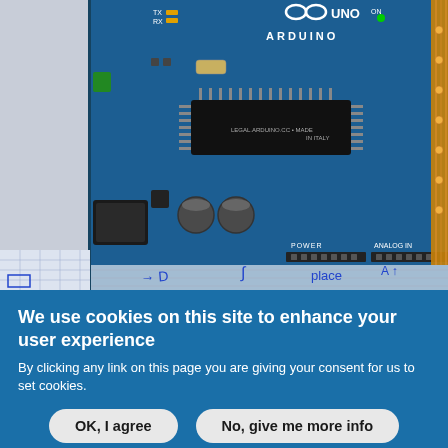[Figure (photo): Close-up photo of an Arduino UNO microcontroller board placed on graph/grid paper with handwritten notes in blue pen. The blue circuit board shows the Arduino UNO branding, ATmega microchip, capacitors, USB port area, and labeled POWER and ANALOG IN pin headers. A partially visible PCB with copper traces is on the right edge.]
We use cookies on this site to enhance your user experience
By clicking any link on this page you are giving your consent for us to set cookies.
OK, I agree
No, give me more info